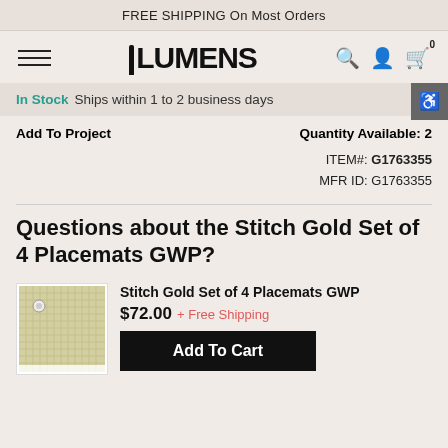FREE SHIPPING On Most Orders
[Figure (logo): Lumens logo with hamburger menu and navigation icons]
In Stock Ships within 1 to 2 business days
Add To Project   Quantity Available: 2
ITEM#: G1763355
MFR ID: G1763355
Questions about the Stitch Gold Set of 4 Placemats GWP?
Stitch Gold Set of 4 Placemats GWP
$72.00 + Free Shipping
Add To Cart